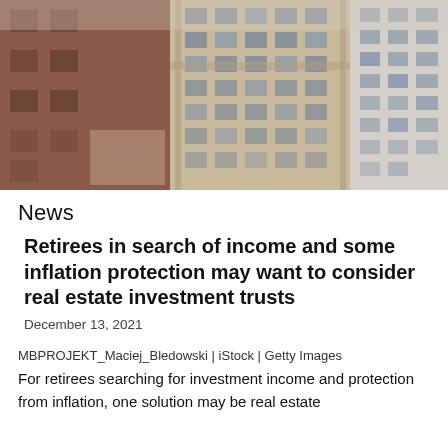[Figure (photo): Photograph of tall urban commercial buildings/skyscrapers with many windows, taken from a low angle looking up. Buildings are brick and stone in brown and beige tones.]
News
Retirees in search of income and some inflation protection may want to consider real estate investment trusts
December 13, 2021
MBPROJEKT_Maciej_Bledowski | iStock | Getty Images
For retirees searching for investment income and protection from inflation, one solution may be real estate